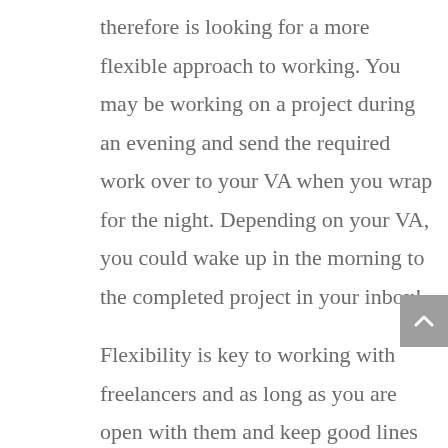therefore is looking for a more flexible approach to working. You may be working on a project during an evening and send the required work over to your VA when you wrap for the night. Depending on your VA, you could wake up in the morning to the completed project in your inbox!
Flexibility is key to working with freelancers and as long as you are open with them and keep good lines of communication going, they will do their utmost to provide a loyal, outstanding level of service to you and your business.
Hiring a virtual assistant or freelancer is a sensible move for many small business owners and entrepreneurs who simply don’t have the time,